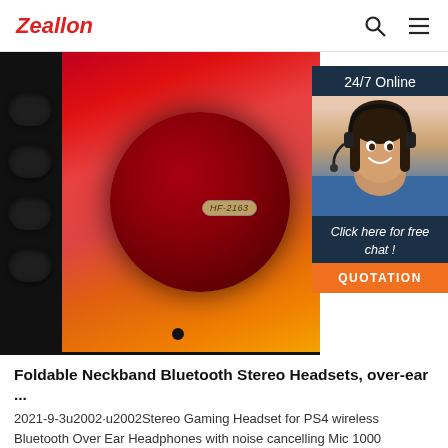Zeallon
[Figure (photo): Close-up photo of a colorful Bluetooth speaker (model HF-2163) with red/orange gradient mesh grille and black rubber grip on the left side, with a 24/7 Online chat overlay in the top-right corner showing a smiling customer service agent wearing a headset, with text 'Click here for free chat!' and an orange 'QUOTATION' button.]
Foldable Neckband Bluetooth Stereo Headsets, over-ear ...
2021-9-3u2002·u2002Stereo Gaming Headset for PS4 wireless Bluetooth Over Ear Headphones with noise cancelling Mic 1000